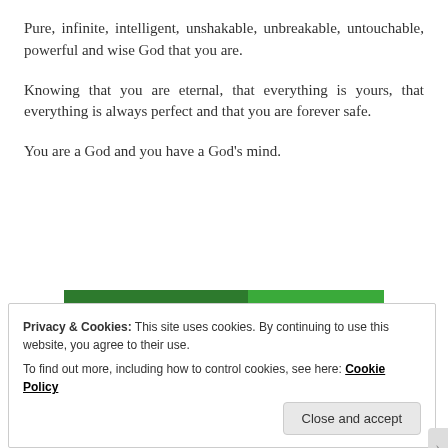Pure, infinite, intelligent, unshakable, unbreakable, untouchable, powerful and wise God that you are.
Knowing that you are eternal, that everything is yours, that everything is always perfect and that you are forever safe.
You are a God and you have a God’s mind.
[Figure (other): Jetpack advertisement banner with green background, Jetpack logo on left and 'Back up your site' call-to-action on right]
Privacy & Cookies: This site uses cookies. By continuing to use this website, you agree to their use.
To find out more, including how to control cookies, see here: Cookie Policy